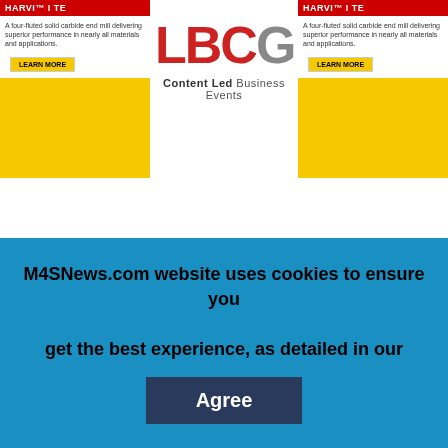[Figure (illustration): Left advertisement banner for HARVI I TE - a four-fluted solid carbide end mill, with red header, text body, LEARN MORE button, and yellow block]
[Figure (logo): LBCG logo in red and gray with tagline 'Content Led Business Events']
[Figure (illustration): Right advertisement banner for HARVI I TE - a four-fluted solid carbide end mill, with red header, text body, LEARN MORE button, and yellow block]
Virtual Conference
For OEMs designing the next generation of B.E.V's, minimizing wasted energy and optimizing the battery pack for weight reduction is pivotal to improving efficiency and ultimately, cost. The goal with efficiency is to lose as little electrical energy as possible when driving the electric motor
M4SNews.com website uses cookies to ensure you get the best experience, as detailed in our